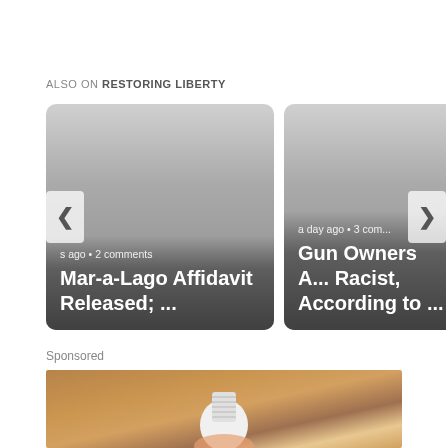ALSO ON RESTORING LIBERTY
[Figure (screenshot): Carousel of two article cards. Left card: 's ago • 2 comments — Mar-a-Lago Affidavit Released; ... Right card: a day ago • 3 com... — Gun Owners A... Racist, According to ... Navigation arrows on left and right sides.]
Sponsored
[Figure (photo): Photo of a light bulb being held, with a beige/brown background.]